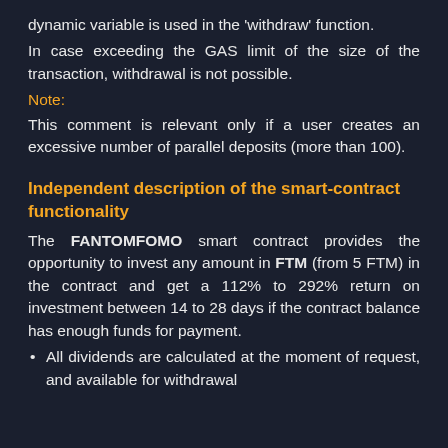dynamic variable is used in the 'withdraw' function.
In case exceeding the GAS limit of the size of the transaction, withdrawal is not possible.
Note:
This comment is relevant only if a user creates an excessive number of parallel deposits (more than 100).
Independent description of the smart-contract functionality
The FANTOMFOMO smart contract provides the opportunity to invest any amount in FTM (from 5 FTM) in the contract and get a 112% to 292% return on investment between 14 to 28 days if the contract balance has enough funds for payment.
All dividends are calculated at the moment of request, and available for withdrawal